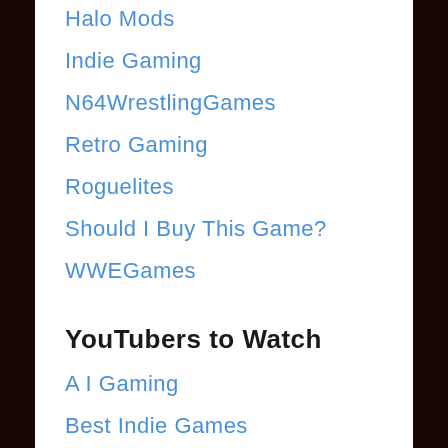Halo Mods
Indie Gaming
N64WrestlingGames
Retro Gaming
Roguelites
Should I Buy This Game?
WWEGames
YouTubers to Watch
A I Gaming
Best Indie Games
Erick Landon RPG